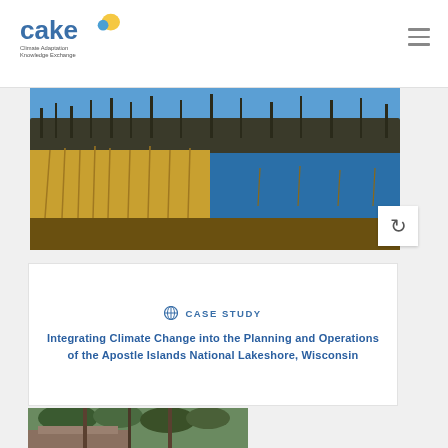CAKE - Climate Adaptation Knowledge Exchange
[Figure (photo): Wetland landscape with golden reeds and blue water, bare winter trees in background and blue sky.]
CASE STUDY
Integrating Climate Change into the Planning and Operations of the Apostle Islands National Lakeshore, Wisconsin
[Figure (photo): Rocky cliff or ruins with green forest trees in background.]